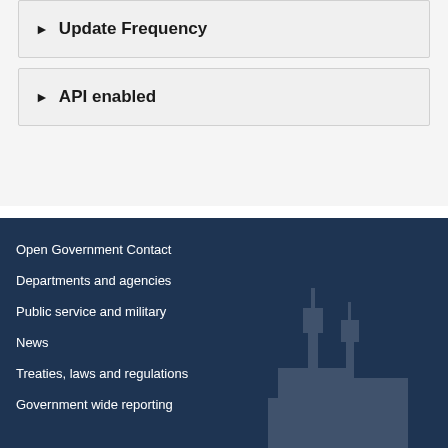▶ Update Frequency
▶ API enabled
Open Government Contact
Departments and agencies
Public service and military
News
Treaties, laws and regulations
Government wide reporting